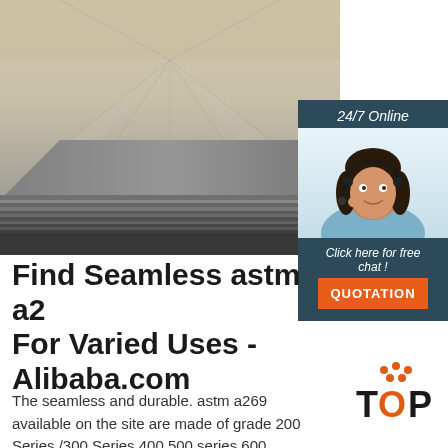[Figure (photo): Steel plates stacked in a warehouse, viewed from a low angle showing the smooth flat surfaces receding into the distance with industrial lighting.]
[Figure (infographic): Customer service sidebar panel with '24/7 Online' heading, photo of a smiling female agent with headset, 'Click here for free chat!' text, and an orange QUOTATION button.]
Find Seamless astm a2 For Varied Uses - Alibaba.com
The seamless and durable. astm a269 available on the site are made of grade 200 Series /300 Series 400 500 series 600 series steel that offer
[Figure (logo): TOP logo with orange dot pattern above the letters and orange/black text.]